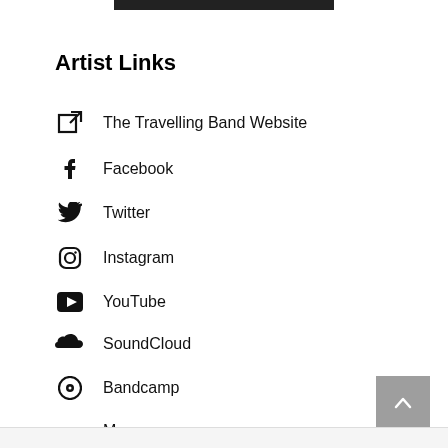Artist Links
The Travelling Band Website
Facebook
Twitter
Instagram
YouTube
SoundCloud
Bandcamp
Myspace